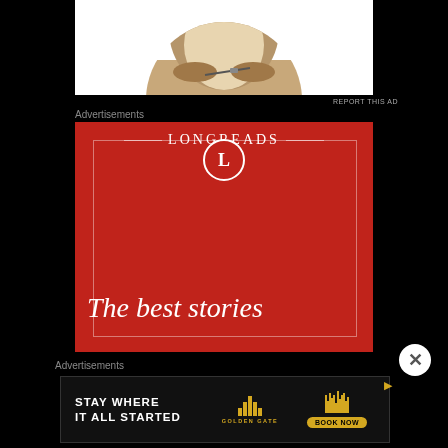[Figure (photo): Partial view of a circular cropped photo showing a person writing/drawing at a desk, cut off at top of frame. White background surrounding the circle.]
REPORT THIS AD
Advertisements
[Figure (advertisement): Longreads advertisement on red background featuring the Longreads logo (circle with L) and brand name at top, decorative white border lines, and the text 'The best stories' in italic serif font at bottom.]
[Figure (other): Close button (X in white circle) overlaid on bottom-right corner of Longreads ad.]
Advertisements
[Figure (advertisement): Hotel advertisement on dark background with text 'STAY WHERE IT ALL STARTED' on left, Golden Gate logo with bar chart icon in center, and barcode-style graphic with 'BOOK NOW' button on right. Play icon in top right corner.]